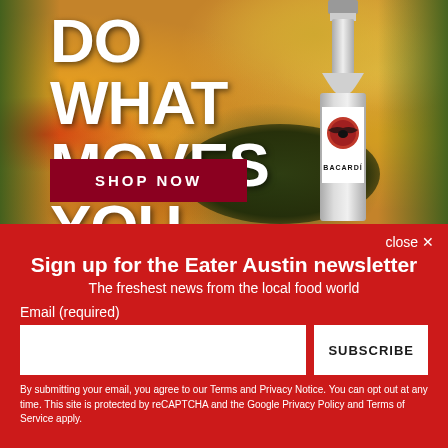[Figure (photo): Bacardi advertisement showing a bottle of Bacardi rum surrounded by tropical fruits (watermelons, mangoes) with text 'DO WHAT MOVES YOU' and a 'SHOP NOW' button on a dark red background with green tropical foliage on the sides.]
close ✕
Sign up for the Eater Austin newsletter
The freshest news from the local food world
Email (required)
SUBSCRIBE
By submitting your email, you agree to our Terms and Privacy Notice. You can opt out at any time. This site is protected by reCAPTCHA and the Google Privacy Policy and Terms of Service apply.